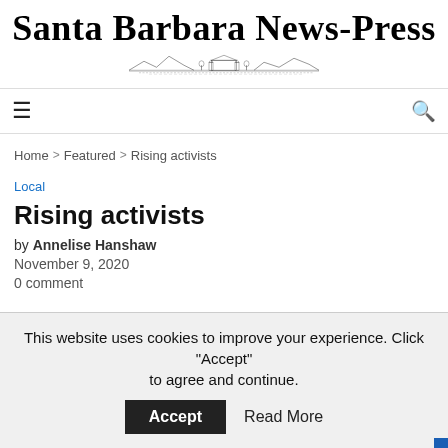Santa Barbara News-Press
[Figure (logo): Santa Barbara News-Press logo with newspaper masthead title in large serif font and a small decorative vignette illustration of a mission/landscape below]
Home > Featured > Rising activists
Local
Rising activists
by Annelise Hanshaw
November 9, 2020
0 comment
This website uses cookies to improve your experience. Click "Accept" to agree and continue.